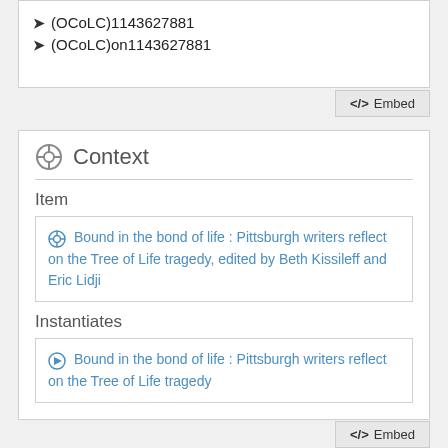(OCoLC)1143627881
(OCoLC)on1143627881
Context
Item
Bound in the bond of life : Pittsburgh writers reflect on the Tree of Life tragedy, edited by Beth Kissileff and Eric Lidji
Instantiates
Bound in the bond of life : Pittsburgh writers reflect on the Tree of Life tragedy